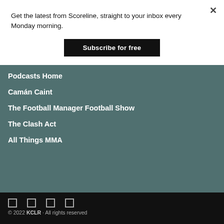Get the latest from Scoreline, straight to your inbox every Monday morning.
Subscribe for free
Podcasts Home
Camán Caint
The Football Manager Football Show
The Clash Act
All Things MMA
© 2022 KCLR · All rights reserved